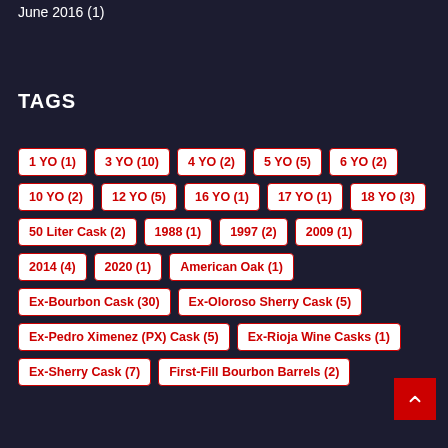June 2016 (1)
TAGS
1 YO (1)
3 YO (10)
4 YO (2)
5 YO (5)
6 YO (2)
10 YO (2)
12 YO (5)
16 YO (1)
17 YO (1)
18 YO (3)
50 Liter Cask (2)
1988 (1)
1997 (2)
2009 (1)
2014 (4)
2020 (1)
American Oak (1)
Ex-Bourbon Cask (30)
Ex-Oloroso Sherry Cask (5)
Ex-Pedro Ximenez (PX) Cask (5)
Ex-Rioja Wine Casks (1)
Ex-Sherry Cask (7)
First-Fill Bourbon Barrels (2)